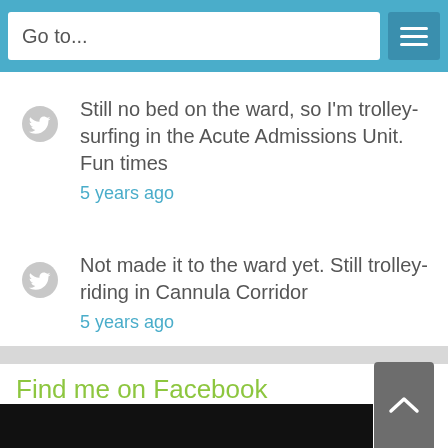Go to...
Still no bed on the ward, so I'm trolley-surfing in the Acute Admissions Unit. Fun times
5 years ago
Not made it to the ward yet. Still trolley-riding in Cannula Corridor
5 years ago
Find me on Facebook